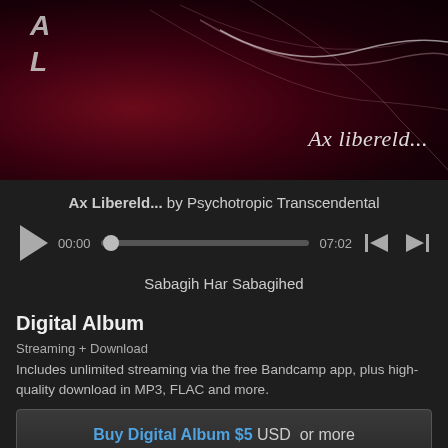[Figure (illustration): Album art for 'Ax Libereld...' by Psychotropic Transcendental. Dark red/maroon background with abstract light wave lines and the letters A and L visible in top left. Text 'Ax libereld...' in italic serif font at bottom right.]
Ax Libereld... by Psychotropic Transcendental
[Figure (screenshot): Audio player with play button, scrubber at 00:00 of 07:02, skip back and skip forward controls.]
Sabagih Har Sabagihed
Digital Album
Streaming + Download
Includes unlimited streaming via the free Bandcamp app, plus high-quality download in MP3, FLAC and more.
Buy Digital Album $5 USD or more
Send as Gift